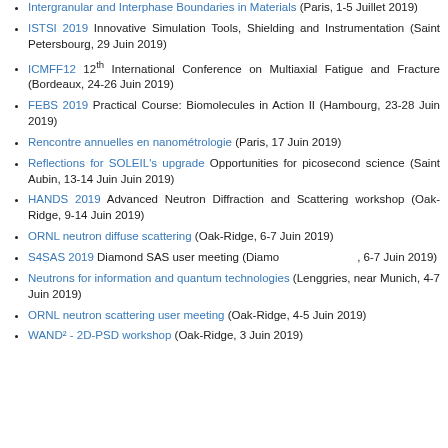Intergranular and Interphase Boundaries in Materials (Paris, 1-5 Juillet 2019)
ISTSI 2019 Innovative Simulation Tools, Shielding and Instrumentation (Saint Petersbourg, 29 Juin 2019)
ICMFF12 12th International Conference on Multiaxial Fatigue and Fracture (Bordeaux, 24-26 Juin 2019)
FEBS 2019 Practical Course: Biomolecules in Action II (Hambourg, 23-28 Juin 2019)
Rencontre annuelles en nanométrologie (Paris, 17 Juin 2019)
Reflections for SOLEIL's upgrade Opportunities for picosecond science (Saint Aubin, 13-14 Juin Juin 2019)
HANDS 2019 Advanced Neutron Diffraction and Scattering workshop (Oak-Ridge, 9-14 Juin 2019)
ORNL neutron diffuse scattering (Oak-Ridge, 6-7 Juin 2019)
S4SAS 2019 Diamond SAS user meeting (Diamond, 6-7 Juin 2019)
Neutrons for information and quantum technologies (Lenggries, near Munich, 4-7 Juin 2019)
ORNL neutron scattering user meeting (Oak-Ridge, 4-5 Juin 2019)
WAND² - 2D-PSD workshop (Oak-Ridge, 3 Juin 2019)